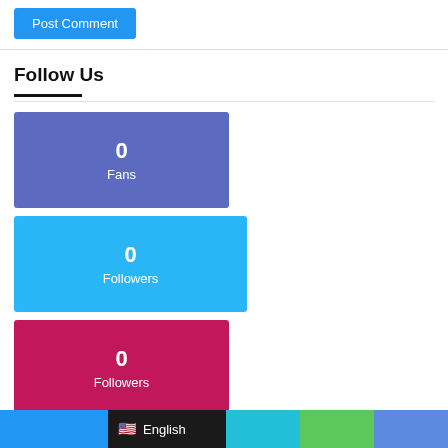Post Comment
Follow Us
0 Fans
0 Followers
0 Followers
Popular
Recent
Comments
The Carp Flats of the Snake River
January 2, 2022
English